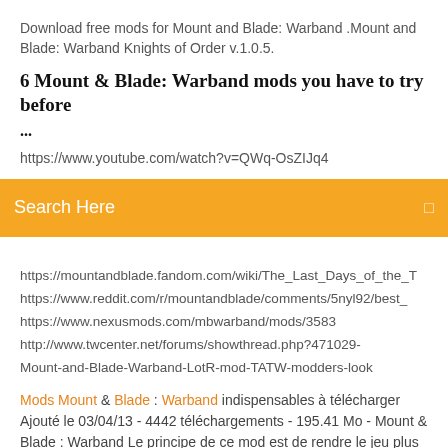Download free mods for Mount and Blade: Warband .Mount and Blade: Warband Knights of Order v.1.0.5.
6 Mount & Blade: Warband mods you have to try before ...
https://www.youtube.com/watch?v=QWq-OsZIJq4
Search Here
https://mountandblade.fandom.com/wiki/The_Last_Days_of_the_T
https://www.reddit.com/r/mountandblade/comments/5nyl92/best_
https://www.nexusmods.com/mbwarband/mods/3583
http://www.twcenter.net/forums/showthread.php?471029-Mount-and-Blade-Warband-LotR-mod-TATW-modders-look
Mods Mount & Blade : Warband indispensables à télécharger Ajouté le 03/04/13 - 4442 téléchargements - 195.41 Mo - Mount & Blade : Warband Le principe de ce mod est de rendre le jeu plus beau, plus cinématique, et surtout compatible avec la